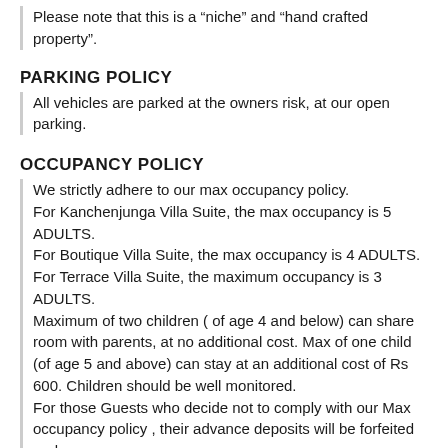Please note that this is a “niche” and “hand crafted property”.
PARKING POLICY
All vehicles are parked at the owners risk, at our open parking.
OCCUPANCY POLICY
We strictly adhere to our max occupancy policy.
For Kanchenjunga Villa Suite, the max occupancy is 5 ADULTS.
For Boutique Villa Suite, the max occupancy is 4 ADULTS.
For Terrace Villa Suite, the maximum occupancy is 3 ADULTS.
Maximum of two children ( of age 4 and below) can share room with parents, at no additional cost. Max of one child (of age 5 and above) can stay at an additional cost of Rs 600. Children should be well monitored.
For those Guests who decide not to comply with our Max occupancy policy , their advance deposits will be forfeited and